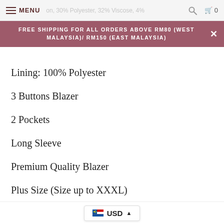MENU  [search] [cart 0]
FREE SHIPPING FOR ALL ORDERS ABOVE RM80 (WEST MALAYSIA)/ RM150 (EAST MALAYSIA)
Lining: 100% Polyester
3 Buttons Blazer
2 Pockets
Long Sleeve
Premium Quality Blazer
Plus Size (Size up to XXXL)
Made In Malaysia (Tailored Made)
Premium Workmanship: Neat and Clean
USD